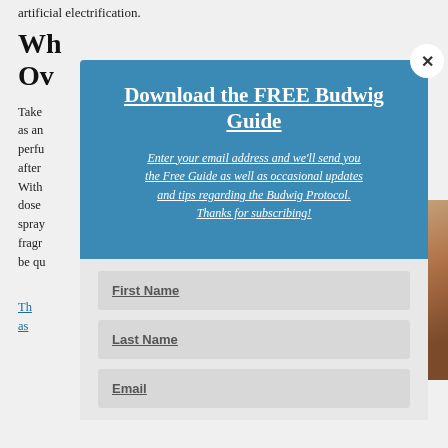artificial electrification.
Wh… Ov…
Take … as an… perfu… after… With… dose… spray… frag… be qu…
Th… as… e'll h.
[Figure (screenshot): Modal popup overlay with blue background. Title: 'Download the FREE Budwig Guide'. Subtitle: 'Enter your email address and we'll send you the Free Guide as well as occasional updates and tips regarding the Budwig Protocol. Thanks for subscribing!' Contains form fields: First Name, Last Name, Email. Has a close (X) button in the top right corner. Bottom of blue box has zigzag/chevron pattern.]